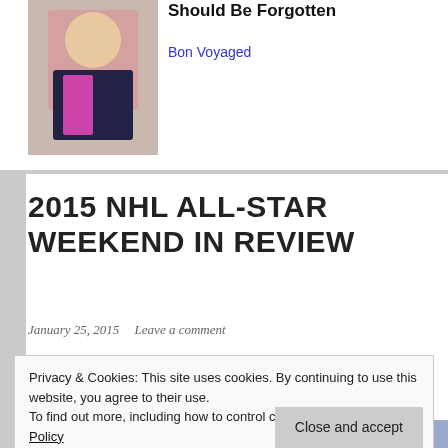[Figure (photo): Thumbnail photo of a woman with blonde hair wearing a pink and black jacket, at what appears to be a store or event]
Should Be Forgotten
Bon Voyaged
2015 NHL ALL-STAR WEEKEND IN REVIEW
January 25, 2015    Leave a comment
Privacy & Cookies: This site uses cookies. By continuing to use this website, you agree to their use.
To find out more, including how to control cookies, see here: Cookie Policy
[Figure (photo): Partial photo at bottom showing NHL All-Star players/event]